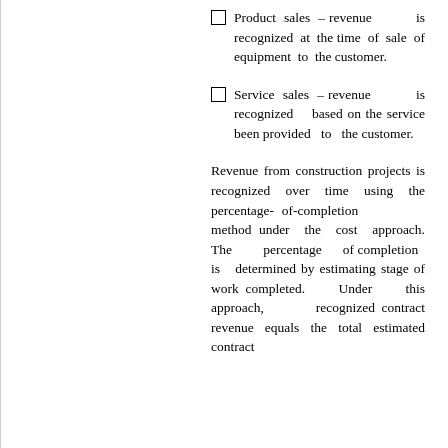Product sales – revenue is recognized at the time of sale of equipment to the customer.
Service sales – revenue is recognized based on the service been provided to the customer.
Revenue from construction projects is recognized over time using the percentage-of-completion method under the cost approach. The percentage of completion is determined by estimating stage of work completed. Under this approach, recognized contract revenue equals the total estimated contract...